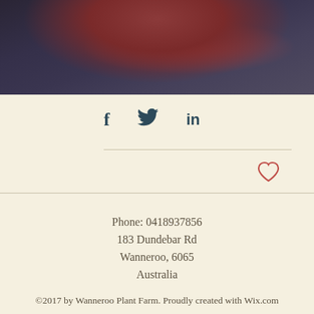[Figure (photo): Top portion of a botanical/plant photograph showing dark tones with reddish-brown plant elements against a dark blue-grey background]
[Figure (infographic): Social media share icons: Facebook (f), Twitter (bird), LinkedIn (in)]
[Figure (infographic): Heart/like icon in red outline style]
Phone: 0418937856
183 Dundebar Rd
Wanneroo, 6065
Australia
©2017 by Wanneroo Plant Farm. Proudly created with Wix.com